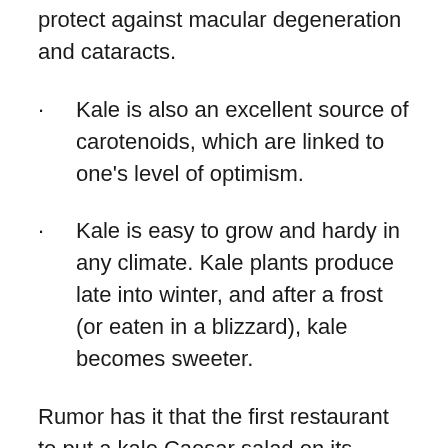protect against macular degeneration and cataracts.
Kale is also an excellent source of carotenoids, which are linked to one's level of optimism.
Kale is easy to grow and hardy in any climate. Kale plants produce late into winter, and after a frost (or eaten in a blizzard), kale becomes sweeter.
Rumor has it that the first restaurant to put a kale Caesar salad on its menu was the Fat Radish in New York.  Whether or not this is true is up for debate, but here is the original